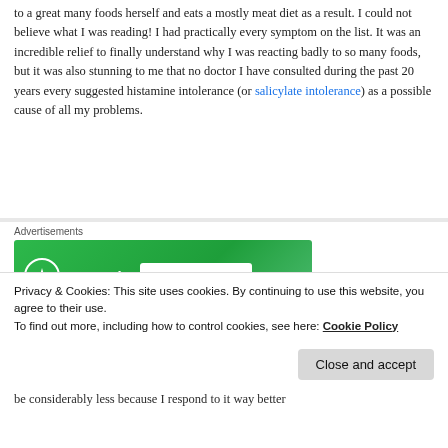to a great many foods herself and eats a mostly meat diet as a result. I could not believe what I was reading! I had practically every symptom on the list. It was an incredible relief to finally understand why I was reacting badly to so many foods, but it was also stunning to me that no doctor I have consulted during the past 20 years every suggested histamine intolerance (or salicylate intolerance) as a possible cause of all my problems.
[Figure (other): Jetpack advertisement banner: green background with Jetpack logo and 'Back up your site' button. Labeled 'Advertisements' above.]
Now, the only thing I needed to do was find a source of
Privacy & Cookies: This site uses cookies. By continuing to use this website, you agree to their use.
To find out more, including how to control cookies, see here: Cookie Policy
be considerably less because I respond to it way better